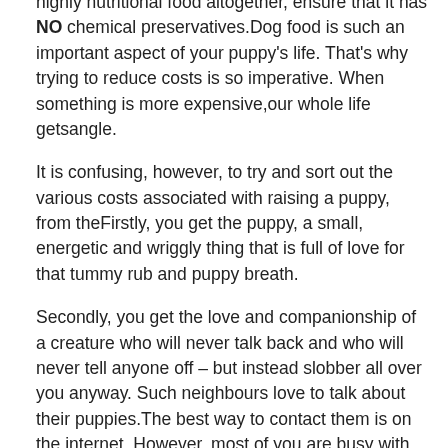highly nutritional food altogether, ensure that it has NO chemical preservatives.Dog food is such an important aspect of your puppy's life. That's why trying to reduce costs is so imperative. When something is more expensive,our whole life getsangle.
It is confusing, however, to try and sort out the various costs associated with raising a puppy, from theFirstly, you get the puppy, a small, energetic and wriggly thing that is full of love for that tummy rub and puppy breath.
Secondly, you get the love and companionship of a creature who will never talk back and who will never tell anyone off – but instead slobber all over you anyway. Such neighbours love to talk about their puppies.The best way to contact them is on the internet. However, most of you are busy with work and kids. [link] So, I'm going to give you a simple checklist of the things you need to consider if you want to actually HEEL your dog instead of mere shadow.
TIP #1: Walk them (not just a pedigreed dog)People love